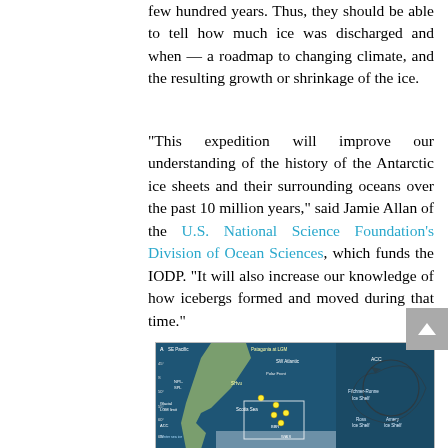few hundred years. Thus, they should be able to tell how much ice was discharged and when — a roadmap to changing climate, and the resulting growth or shrinkage of the ice.
“This expedition will improve our understanding of the history of the Antarctic ice sheets and their surrounding oceans over the past 10 million years,” said Jamie Allan of the U.S. National Science Foundation’s Division of Ocean Sciences, which funds the IODP. “It will also increase our knowledge of how icebergs formed and moved during that time.”
[Figure (map): Scientific map labeled 'A' showing SE Pacific, Patagonia at LGM, SW Atlantic, ACC, polar front, Glacial LGM limit, Scotia Sea, NPI-SPL, SHvu, WAIS, BBR, Filchner-Ronne Ice Shelf, Ross Ice Shelf, Amery Ice Shelf, with ocean circulation arrows and drilling site markers at latitudes 45-65 degrees S.]